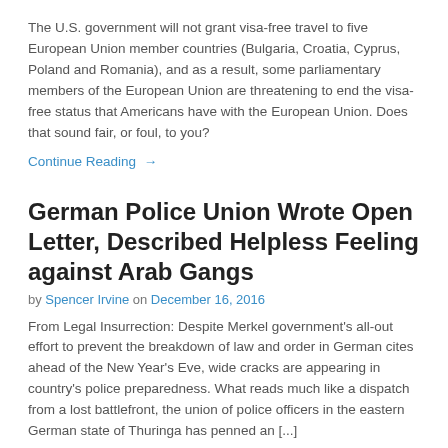The U.S. government will not grant visa-free travel to five European Union member countries (Bulgaria, Croatia, Cyprus, Poland and Romania), and as a result, some parliamentary members of the European Union are threatening to end the visa-free status that Americans have with the European Union. Does that sound fair, or foul, to you?
Continue Reading →
German Police Union Wrote Open Letter, Described Helpless Feeling against Arab Gangs
by Spencer Irvine on December 16, 2016
From Legal Insurrection: Despite Merkel government's all-out effort to prevent the breakdown of law and order in German cites ahead of the New Year's Eve, wide cracks are appearing in country's police preparedness. What reads much like a dispatch from a lost battlefront, the union of police officers in the eastern German state of Thuringa has penned an [...]
Continue Reading →